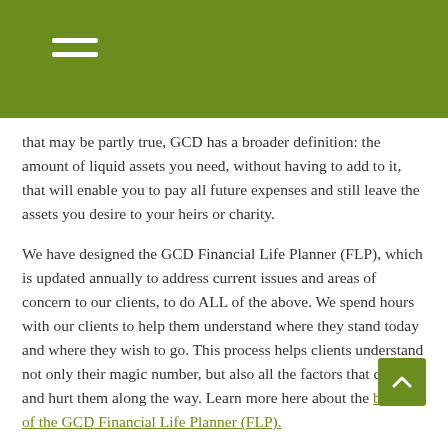GCD Financial Life Planner
that may be partly true, GCD has a broader definition: the amount of liquid assets you need, without having to add to it, that will enable you to pay all future expenses and still leave the assets you desire to your heirs or charity.
We have designed the GCD Financial Life Planner (FLP), which is updated annually to address current issues and areas of concern to our clients, to do ALL of the above. We spend hours with our clients to help them understand where they stand today and where they wish to go. This process helps clients understand not only their magic number, but also all the factors that can help and hurt them along the way. Learn more here about the benefits of the GCD Financial Life Planner (FLP).
We also believe the preparation of such a model comes with an obligation on your part...